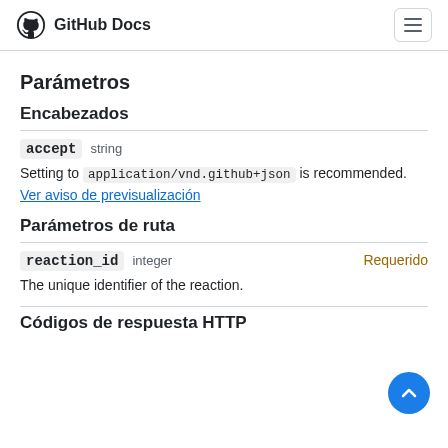GitHub Docs
Parámetros
Encabezados
accept   string
Setting to application/vnd.github+json is recommended.
Ver aviso de previsualización
Parámetros de ruta
reaction_id   integer   Requerido
The unique identifier of the reaction.
Còdigos de respuesta HTTP